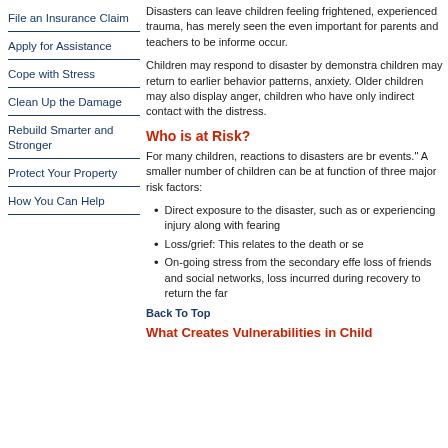File an Insurance Claim
Apply for Assistance
Cope with Stress
Clean Up the Damage
Rebuild Smarter and Stronger
Protect Your Property
How You Can Help
Disasters can leave children feeling frightened, experienced trauma, has merely seen the even important for parents and teachers to be inform occur.
Children may respond to disaster by demonstra children may return to earlier behavior patterns, anxiety. Older children may also display anger, children who have only indirect contact with the distress.
Who is at Risk?
For many children, reactions to disasters are br events." A smaller number of children can be at function of three major risk factors:
Direct exposure to the disaster, such as or experiencing injury along with fearing
Loss/grief: This relates to the death or se
On-going stress from the secondary effe loss of friends and social networks, loss incurred during recovery to return the far
Back To Top
What Creates Vulnerabilities in Child